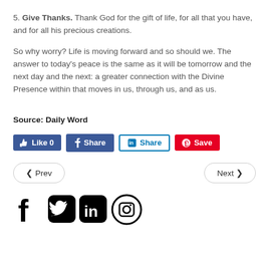5. Give Thanks. Thank God for the gift of life, for all that you have, and for all his precious creations.
So why worry? Life is moving forward and so should we. The answer to today's peace is the same as it will be tomorrow and the next day and the next: a greater connection with the Divine Presence within that moves in us, through us, and as us.
Source: Daily Word
[Figure (infographic): Social sharing buttons: Like 0 (Facebook blue), Share (Facebook blue), Share (LinkedIn teal outlined), Save (Pinterest red)]
[Figure (infographic): Navigation buttons: left Prev arrow button and right Next arrow button]
[Figure (infographic): Social media icons: Facebook, Twitter, LinkedIn, Instagram]